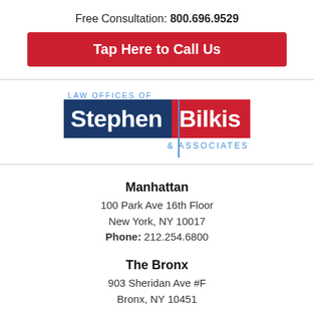Free Consultation: 800.696.9529
Tap Here to Call Us
[Figure (logo): Law Offices of Stephen Bilkis & Associates logo with blue and red name blocks and blue vertical divider line]
Manhattan
100 Park Ave 16th Floor
New York, NY 10017
Phone: 212.254.6800
The Bronx
903 Sheridan Ave #F
Bronx, NY 10451